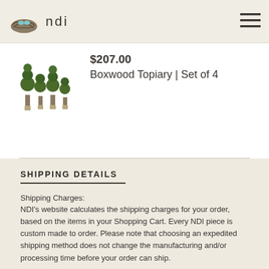ndi
[Figure (illustration): NDI brand logo with a bird nest containing blue eggs]
[Figure (illustration): Boxwood Topiary set of 4 product image showing four green topiary trees in pots]
$207.00
Boxwood Topiary | Set of 4
SHIPPING DETAILS
Shipping Charges:
NDI's website calculates the shipping charges for your order, based on the items in your Shopping Cart. Every NDI piece is custom made to order. Please note that choosing an expedited shipping method does not change the manufacturing and/or processing time before your order can ship.
Shipping Methods:
NDI...